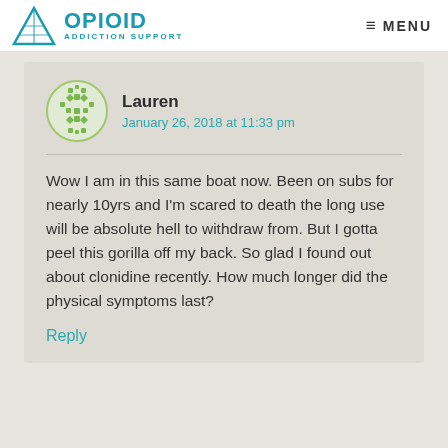OPIOID ADDICTION SUPPORT | MENU
Lauren
January 26, 2018 at 11:33 pm
Wow I am in this same boat now. Been on subs for nearly 10yrs and I'm scared to death the long use will be absolute hell to withdraw from. But I gotta peel this gorilla off my back. So glad I found out about clonidine recently. How much longer did the physical symptoms last?
Reply